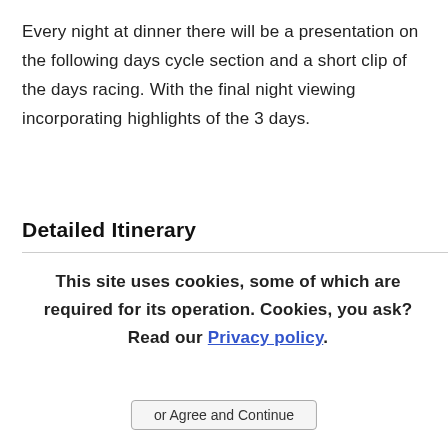Every night at dinner there will be a presentation on the following days cycle section and a short clip of the days racing. With the final night viewing incorporating highlights of the 3 days.
Detailed Itinerary
This site uses cookies, some of which are required for its operation. Cookies, you ask? Read our Privacy policy.
or Agree and Continue